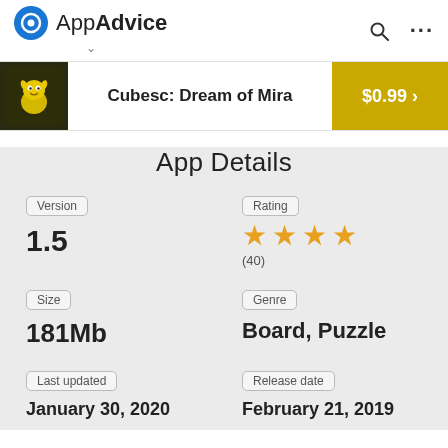AppAdvice
Cubesc: Dream of Mira  $0.99 >
App Details
Version
1.5
Rating
★★★★ (40)
Size
181Mb
Genre
Board, Puzzle
Last updated
January 30, 2020
Release date
February 21, 2019